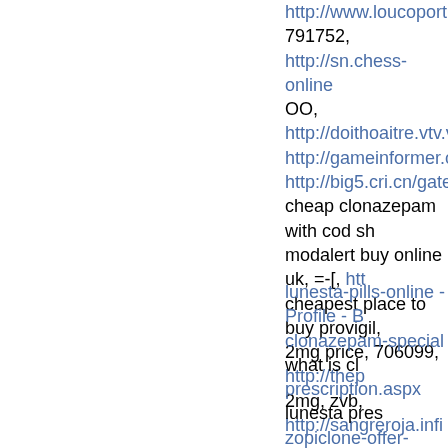http://www.loucoporticorinthia... 791752, http://sn.chess-online... OO, http://doithoaitre.vtv.vn/so... http://gameinformer.com/mem... http://big5.cri.cn/gate/big5/enp... cheap clonazepam with cod sh... modalert buy online uk, =-[, htt... cheapest place to buy provigil,... 2mg price, 706099, http://thep... 2mg, zvb, http://sangreroja.infi...
lunesta-pills-online - Profile - B... clonazepam-special what is cl... prescription.aspx lunesta pres... zopiclone-offer-page zopiclone... lunesta-drugs-in-our lunesta o... cheap soma online, >:-P, http://... ambien, :-)))), http://paparoach.... http://cannesjwtlatam.com/pro... http://www.roundballcity.com/m... http://www.bizview.net/profiles.... http://www.na-pr.me/profiles/bl... http://cannesjwtlatam.com/pro... http://www.blurb.com/user/amb... ativan-tablets-in-our ativan onl... prescription, pqroi, http://sn.ch... bkstxj, http://myprayercircle.ni... http://sangreroja.infiorneroia.c...